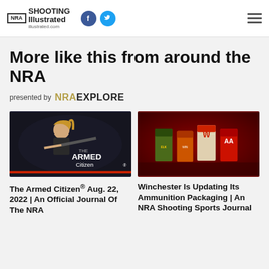NRA Shooting Illustrated | Facebook | Twitter | Menu
More like this from around the NRA
presented by NRA EXPLORE
[Figure (photo): The Armed Citizen promotional image showing a woman holding a rifle against a dark background with 'THE ARMED Citizen' text overlay]
The Armed Citizen® Aug. 22, 2022 | An Official Journal Of The NRA
[Figure (photo): Winchester ammunition packaging products displayed against a red background]
Winchester Is Updating Its Ammunition Packaging | An NRA Shooting Sports Journal